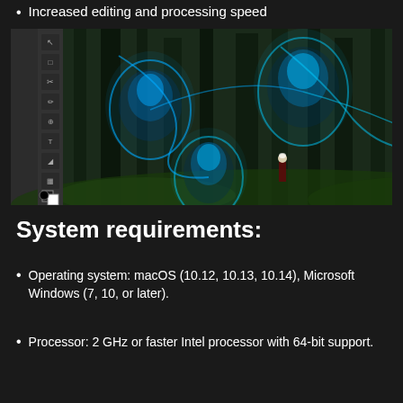Increased editing and processing speed
[Figure (screenshot): Adobe Photoshop screenshot showing a fantasy image of a person in a forest surrounded by glowing blue jellyfish, with the Layers panel and Layer Properties panel visible on the right side.]
System requirements:
Operating system: macOS (10.12, 10.13, 10.14), Microsoft Windows (7, 10, or later).
Processor: 2 GHz or faster Intel processor with 64-bit support.